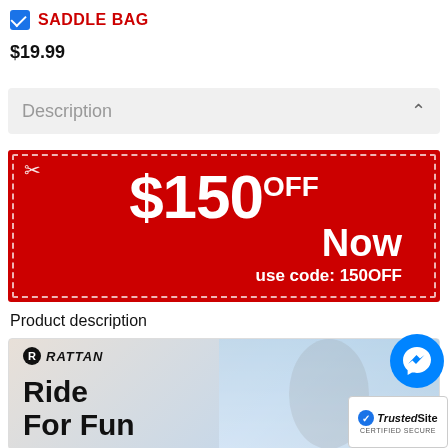SADDLE BAG
$19.99
Description
[Figure (infographic): Red coupon banner with dashed border showing '$150 OFF Now use code: 150OFF' in white text on red background]
Product description
[Figure (photo): Rattan brand photo showing a woman riding a bike with 'Ride For Fun' text overlay and Rattan logo]
[Figure (logo): Facebook Messenger blue circle icon]
[Figure (logo): TrustedSite certified secure badge]